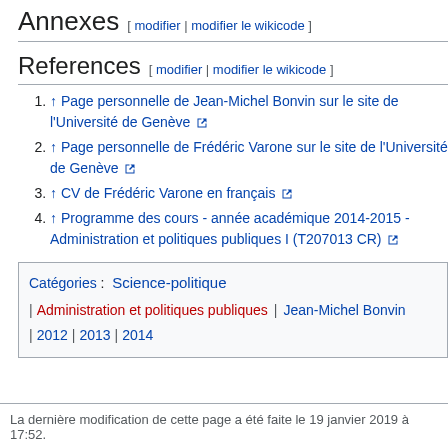Annexes [ modifier | modifier le wikicode ]
References [ modifier | modifier le wikicode ]
↑ Page personnelle de Jean-Michel Bonvin sur le site de l'Université de Genève
↑ Page personnelle de Frédéric Varone sur le site de l'Université de Genève
↑ CV de Frédéric Varone en français
↑ Programme des cours - année académique 2014-2015 - Administration et politiques publiques I (T207013 CR)
Catégories : Science-politique | Administration et politiques publiques | Jean-Michel Bonvin | 2012 | 2013 | 2014
La dernière modification de cette page a été faite le 19 janvier 2019 à 17:52.